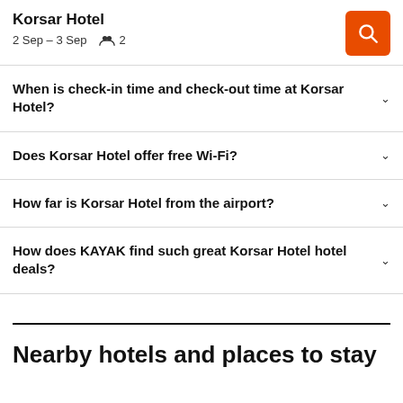Korsar Hotel | 2 Sep – 3 Sep | 2 guests
When is check-in time and check-out time at Korsar Hotel?
Does Korsar Hotel offer free Wi-Fi?
How far is Korsar Hotel from the airport?
How does KAYAK find such great Korsar Hotel hotel deals?
Nearby hotels and places to stay